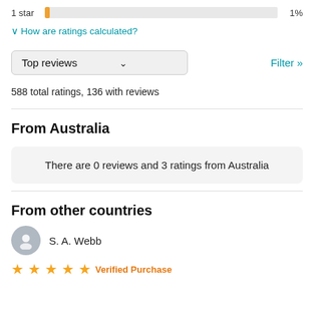[Figure (other): 1 star rating bar showing approximately 1% fill with label '1 star' on left and '1%' on right]
∨ How are ratings calculated?
Top reviews ∨
Filter »
588 total ratings, 136 with reviews
From Australia
There are 0 reviews and 3 ratings from Australia
From other countries
S. A. Webb
★★★★★ Verified Purchase